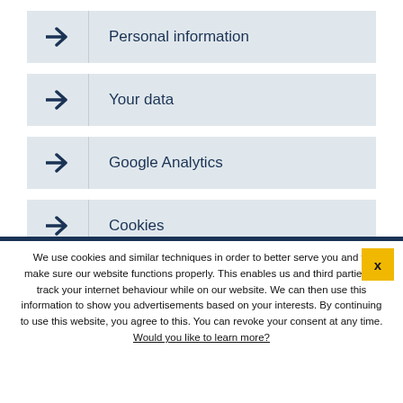→ Personal information
→ Your data
→ Google Analytics
→ Cookies
We use cookies and similar techniques in order to better serve you and to make sure our website functions properly. This enables us and third parties to track your internet behaviour while on our website. We can then use this information to show you advertisements based on your interests. By continuing to use this website, you agree to this. You can revoke your consent at any time. Would you like to learn more?